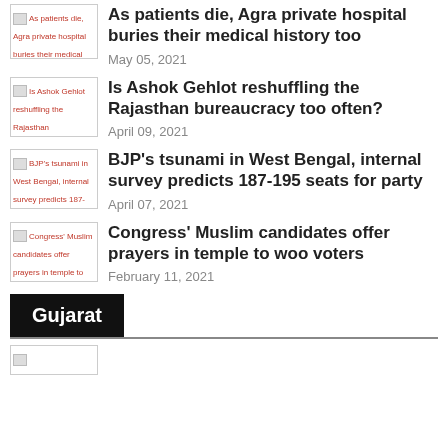As patients die, Agra private hospital buries their medical history too — May 05, 2021
Is Ashok Gehlot reshuffling the Rajasthan bureaucracy too often? — April 09, 2021
BJP's tsunami in West Bengal, internal survey predicts 187-195 seats for party — April 07, 2021
Congress' Muslim candidates offer prayers in temple to woo voters — February 11, 2021
Gujarat